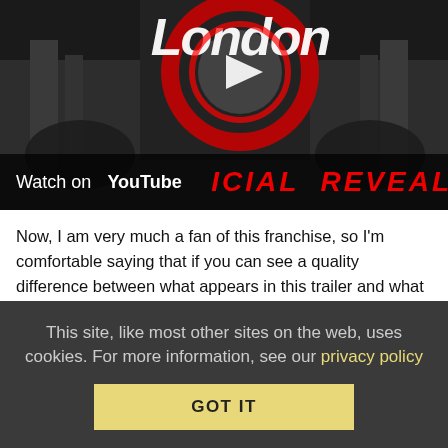[Figure (screenshot): YouTube video thumbnail showing a Watch on YouTube bar with the text 'OFFICIAL REVEAL TRAILER' in red, set in a dramatic London scene with lion statues and the word 'London' in white italic text. A YouTube play button circle is visible.]
Now, I am very much a fan of this franchise, so I'm comfortable saying that if you can see a quality difference between what appears in this trailer and what has appeared in official trailers for the franchise, you're a much bigger stickler for details than I am. The mod changes more than just the location, though. It puts an emphasis on different types of gameplay to reflect a more British sensibility.
This site, like most other sites on the web, uses cookies. For more information, see our privacy policy
GOT IT